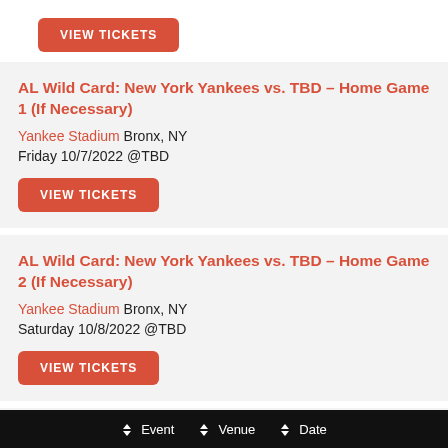VIEW TICKETS
AL Wild Card: New York Yankees vs. TBD – Home Game 1 (If Necessary)
Yankee Stadium Bronx, NY
Friday 10/7/2022 @TBD
VIEW TICKETS
AL Wild Card: New York Yankees vs. TBD – Home Game 2 (If Necessary)
Yankee Stadium Bronx, NY
Saturday 10/8/2022 @TBD
VIEW TICKETS
AL Wild Card: New York Yankees vs. TBD – Home
Event  Venue  Date